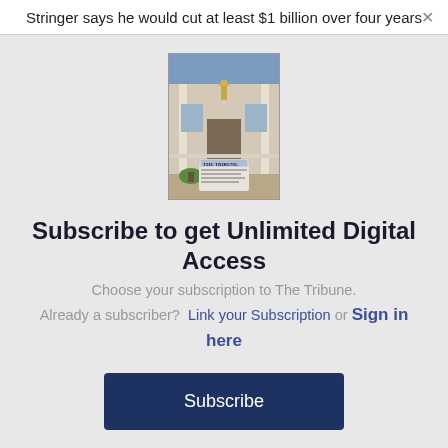Stringer says he would cut at least $1 billion over four years
[Figure (photo): Photo of The Tribune newspaper on a porch]
Subscribe to get Unlimited Digital Access
Choose your subscription to The Tribune.
Already a subscriber?  Link your Subscription or Sign in here
Subscribe